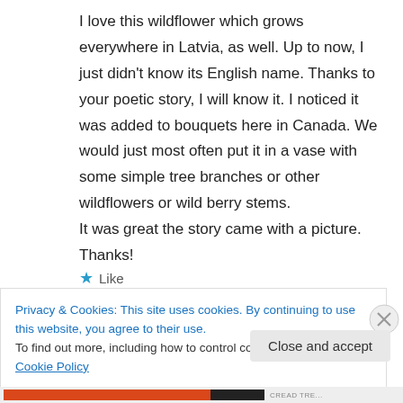I love this wildflower which grows everywhere in Latvia, as well. Up to now, I just didn't know its English name. Thanks to your poetic story, I will know it. I noticed it was added to bouquets here in Canada. We would just most often put it in a vase with some simple tree branches or other wildflowers or wild berry stems.
It was great the story came with a picture. Thanks!
★ Like
Privacy & Cookies: This site uses cookies. By continuing to use this website, you agree to their use.
To find out more, including how to control cookies, see here: Cookie Policy
Close and accept